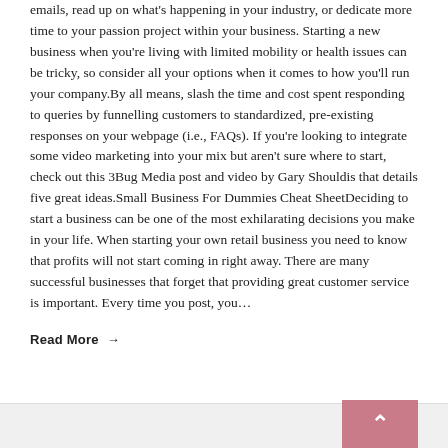emails, read up on what's happening in your industry, or dedicate more time to your passion project within your business. Starting a new business when you're living with limited mobility or health issues can be tricky, so consider all your options when it comes to how you'll run your company.By all means, slash the time and cost spent responding to queries by funnelling customers to standardized, pre-existing responses on your webpage (i.e., FAQs). If you're looking to integrate some video marketing into your mix but aren't sure where to start, check out this 3Bug Media post and video by Gary Shouldis that details five great ideas.Small Business For Dummies Cheat SheetDeciding to start a business can be one of the most exhilarating decisions you make in your life. When starting your own retail business you need to know that profits will not start coming in right away. There are many successful businesses that forget that providing great customer service is important. Every time you post, you...
Read More →